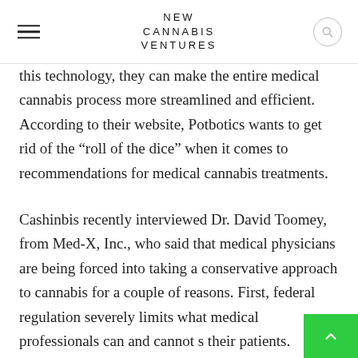NEW CANNABIS VENTURES
this technology, they can make the entire medical cannabis process more streamlined and efficient. According to their website, Potbotics wants to get rid of the “roll of the dice” when it comes to recommendations for medical cannabis treatments.
Cashinbis recently interviewed Dr. David Toomey, from Med-X, Inc., who said that medical physicians are being forced into taking a conservative approach to cannabis for a couple of reasons. First, federal regulation severely limits what medical professionals can and cannot s their patients. Second, these professionals simply